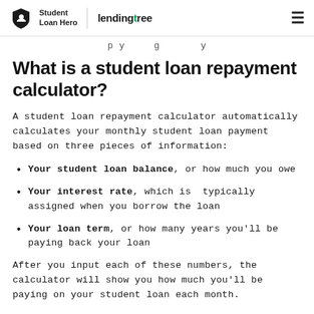Student Loan Hero | lendingtree
p y g y
What is a student loan repayment calculator?
A student loan repayment calculator automatically calculates your monthly student loan payment based on three pieces of information:
Your student loan balance, or how much you owe
Your interest rate, which is typically assigned when you borrow the loan
Your loan term, or how many years you'll be paying back your loan
After you input each of these numbers, the calculator will show you how much you'll be paying on your student loan each month.